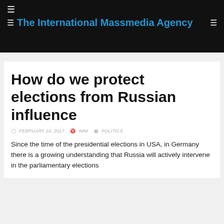The International Massmedia Agency
How do we protect elections from Russian influence
FEBRUARY 16, 2017   IMM   POLITICS
Since the time of the presidential elections in USA, in Germany there is a growing understanding that Russia will actively intervene in the parliamentary elections